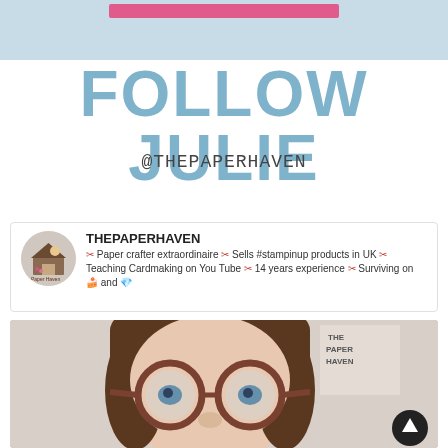[Figure (other): Pink horizontal bar on light blue banner background at top of page]
FOLLOW JULIE
@THEPAPERHAVEN
THEPAPERHAVEN
✂ Paper crafter extraordinaire ✂ Sells #stampinup products in UK ✂ Teaching Cardmaking on You Tube ✂ 14 years experience ✂ Surviving on 🍰 and 💎
[Figure (photo): Close-up photo of a woman with brown glasses and dark hair, with a sign reading THE PAPER HAVEN in the background. A dark circular scroll-to-top button is visible in the bottom right.]